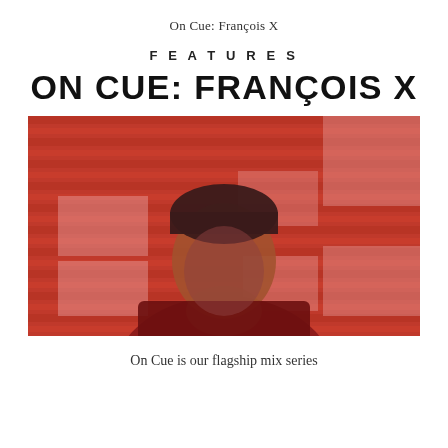On Cue: François X
FEATURES
ON CUE: FRANÇOIS X
[Figure (photo): Red-tinted duotone photograph of a man wearing a black beanie hat and a dark jacket with a turtleneck, posed in front of a red corrugated metal shutter background with light pixelated/block overlay effects in lighter pink/white tones.]
On Cue is our flagship mix series